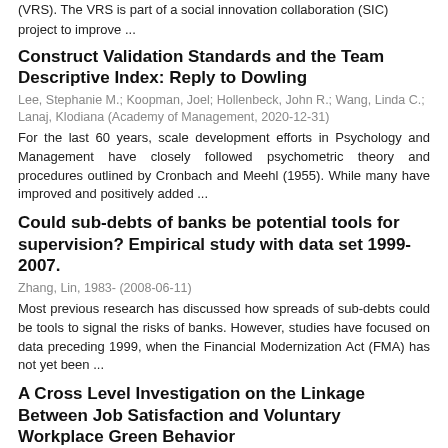(VRS). The VRS is part of a social innovation collaboration (SIC) project to improve ...
Construct Validation Standards and the Team Descriptive Index: Reply to Dowling
Lee, Stephanie M.; Koopman, Joel; Hollenbeck, John R.; Wang, Linda C.; Lanaj, Klodiana (Academy of Management, 2020-12-31)
For the last 60 years, scale development efforts in Psychology and Management have closely followed psychometric theory and procedures outlined by Cronbach and Meehl (1955). While many have improved and positively added ...
Could sub-debts of banks be potential tools for supervision? Empirical study with data set 1999-2007.
Zhang, Lin, 1983- (2008-06-11)
Most previous research has discussed how spreads of sub-debts could be tools to signal the risks of banks. However, studies have focused on data preceding 1999, when the Financial Modernization Act (FMA) has not yet been ...
A Cross Level Investigation on the Linkage Between Job Satisfaction and Voluntary Workplace Green Behavior
Kim, Andrea; Kim, Youngsang; Han, Kyongji (Springer Nature, 2018-